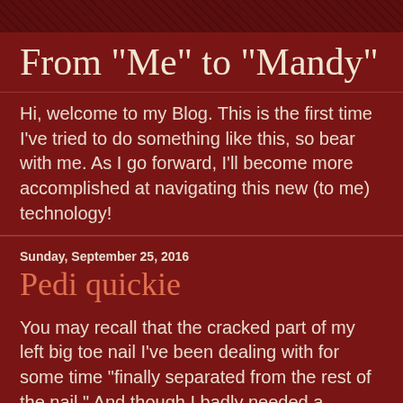[Figure (illustration): Dark reddish-brown decorative header banner with diagonal texture pattern]
From "Me" to "Mandy"
Hi, welcome to my Blog. This is the first time I've tried to do something like this, so bear with me. As I go forward, I'll become more accomplished at navigating this new (to me) technology!
Sunday, September 25, 2016
Pedi quickie
You may recall that the cracked part of my left big toe nail I've been dealing with for some time "finally separated from the rest of the nail."  And though I badly needed a pedicure when it happened, I waited a while, to get my next pedicure.
Until now.
I dropped in at the nail salon, and the techs were glad to see me.  I showed them the problem and asked if they could